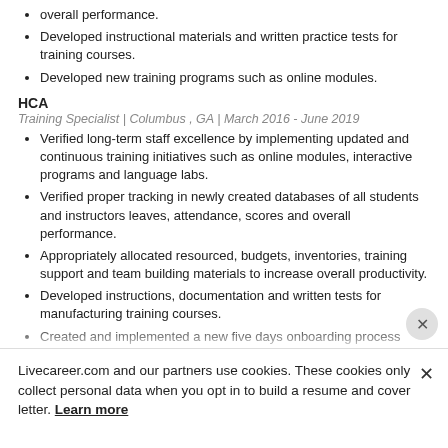overall performance.
Developed instructional materials and written practice tests for training courses.
Developed new training programs such as online modules.
HCA
Training Specialist | Columbus , GA | March 2016 - June 2019
Verified long-term staff excellence by implementing updated and continuous training initiatives such as online modules, interactive programs and language labs.
Verified proper tracking in newly created databases of all students and instructors leaves, attendance, scores and overall performance.
Appropriately allocated resourced, budgets, inventories, training support and team building materials to increase overall productivity.
Developed instructions, documentation and written tests for manufacturing training courses.
Created and implemented a new five days onboarding process resulting in excellent retention and quality numbers.
Livecareer.com and our partners use cookies. These cookies only collect personal data when you opt in to build a resume and cover letter. Learn more